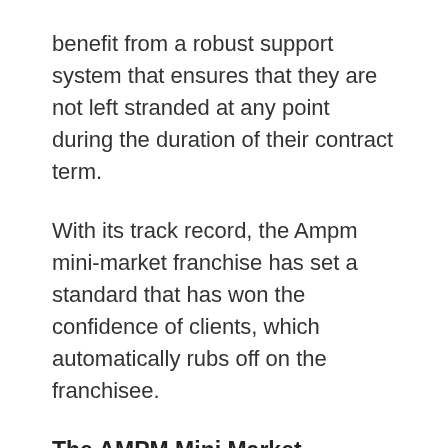benefit from a robust support system that ensures that they are not left stranded at any point during the duration of their contract term.
With its track record, the Ampm mini-market franchise has set a standard that has won the confidence of clients, which automatically rubs off on the franchisee.
The AMPM Mini Market Franchise Startup Cost